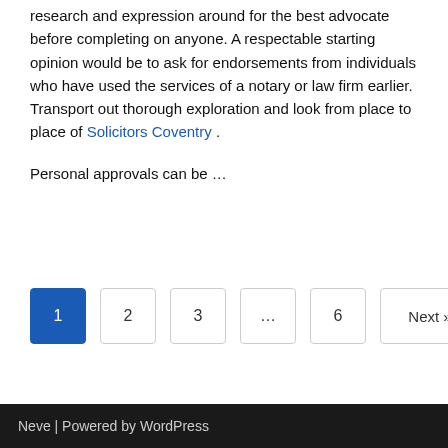research and expression around for the best advocate before completing on anyone. A respectable starting opinion would be to ask for endorsements from individuals who have used the services of a notary or law firm earlier. Transport out thorough exploration and look from place to place of Solicitors Coventry .
Personal approvals can be …
1  2  3  …  6  Next »
Neve | Powered by WordPress